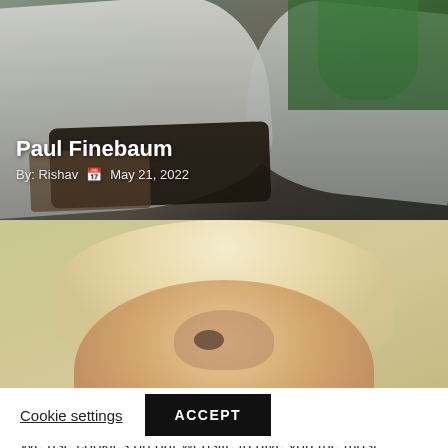[Figure (photo): Top photo showing people in light-colored clothing, possibly medical or sports context, with green background visible]
Paul Finebaum
By: Rishav  📅 May 21, 2022
[Figure (photo): Close-up photo of a blonde woman looking upward]
We use cookies on our website to give you the most relevant experience by remembering your preferences and repeat visits. By clicking "Accept", you consent to the use of ALL the cookies.
Cookie settings    ACCEPT